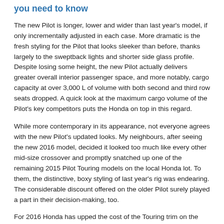you need to know
The new Pilot is longer, lower and wider than last year's model, if only incrementally adjusted in each case. More dramatic is the fresh styling for the Pilot that looks sleeker than before, thanks largely to the sweptback lights and shorter side glass profile. Despite losing some height, the new Pilot actually delivers greater overall interior passenger space, and more notably, cargo capacity at over 3,000 L of volume with both second and third row seats dropped. A quick look at the maximum cargo volume of the Pilot's key competitors puts the Honda on top in this regard.
While more contemporary in its appearance, not everyone agrees with the new Pilot's updated looks. My neighbours, after seeing the new 2016 model, decided it looked too much like every other mid-size crossover and promptly snatched up one of the remaining 2015 Pilot Touring models on the local Honda lot. To them, the distinctive, boxy styling of last year's rig was endearing. The considerable discount offered on the older Pilot surely played a part in their decision-making, too.
For 2016 Honda has upped the cost of the Touring trim on the Pilot (from $51,609 to $52,185) which also puts it a few thousand more than its direct competitor, Toyota's Highlander